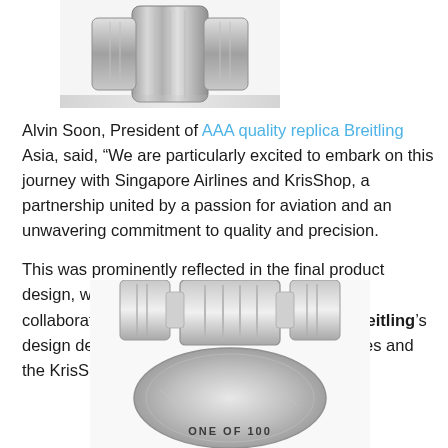[Figure (photo): Close-up photo of a metallic watch bracelet/clasp, showing polished and brushed stainless steel links, cropped at top of page.]
Alvin Soon, President of AAA quality replica Breitling Asia, said, “We are particularly excited to embark on this journey with Singapore Airlines and KrisShop, a partnership united by a passion for aviation and an unwavering commitment to quality and precision.

This was prominently reflected in the final product design, which we are proud to say was a truly collaborative effort between UK luxury fake Breitling’s design department, pilots from Singapore Airlines and the KrisShop team.”
[Figure (photo): Photo of the back of a stainless steel watch showing the caseback engraved with ‘ONE OF 100’, with a bracelet clasp visible above, cropped at the bottom of the page.]